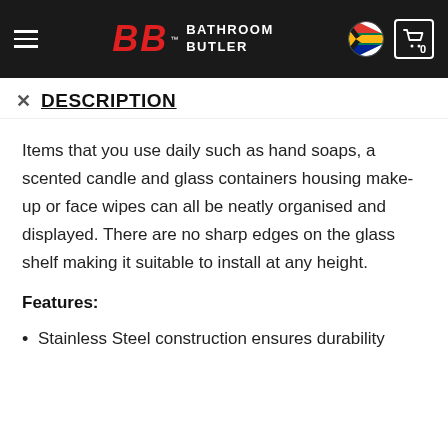BATHROOM BUTLER
DESCRIPTION
Items that you use daily such as hand soaps, a scented candle and glass containers housing make-up or face wipes can all be neatly organised and displayed. There are no sharp edges on the glass shelf making it suitable to install at any height.
Features:
Stainless Steel construction ensures durability